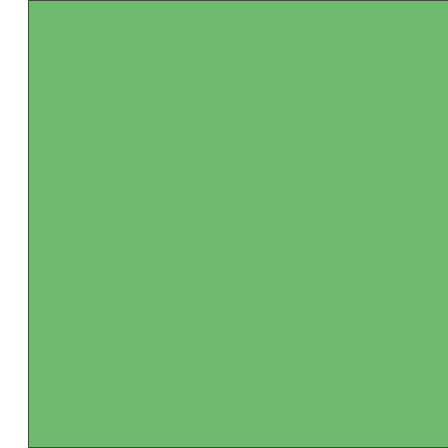[Figure (illustration): Large green rectangle with dark border, occupying the left portion of the page]
Cowboy i
Cowboy i
Cowboy w mm
Cowboy w
Cowboy;
Cowboy;
Cowboy;
Cowboy;
Cowboy;
Cowboy;
Cowboy;
Cowboy;
Cowboy;
Drummer Pavlovsky
Equestria
Indian ch
Indian wa
Indian wa
Indian wi
Injun; 54
Injun; 54
Injun; 54
Injun; 54
Injun; 54
Injun; 54